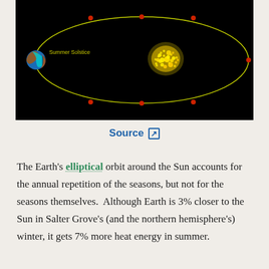[Figure (illustration): Diagram showing Earth's elliptical orbit around the Sun on a black background. An ellipse is drawn in yellow-green, with the Sun (yellow, dotted/speckled) near the center-right area. Earth is shown at the left side of the ellipse labeled 'Summer Solstice'. Red dots mark various positions along the ellipse.]
Source [external link icon]
The Earth's elliptical orbit around the Sun accounts for the annual repetition of the seasons, but not for the seasons themselves. Although Earth is 3% closer to the Sun in Salter Grove's (and the northern hemisphere's) winter, it gets 7% more heat energy in summer.